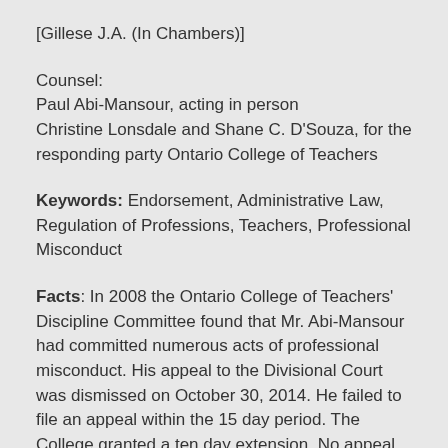[Gillese J.A. (In Chambers)]
Counsel:
Paul Abi-Mansour, acting in person
Christine Lonsdale and Shane C. D'Souza, for the responding party Ontario College of Teachers
Keywords: Endorsement, Administrative Law, Regulation of Professions, Teachers, Professional Misconduct
Facts: In 2008 the Ontario College of Teachers' Discipline Committee found that Mr. Abi-Mansour had committed numerous acts of professional misconduct. His appeal to the Divisional Court was dismissed on October 30, 2014. He failed to file an appeal within the 15 day period. The College granted a ten day extension. No appeal was brought. Mr. Abi-Mansour brought a motion seeking a further extension in January 2016. This motion was dismissed. Mr. Abi-Mansour brought a motion in March